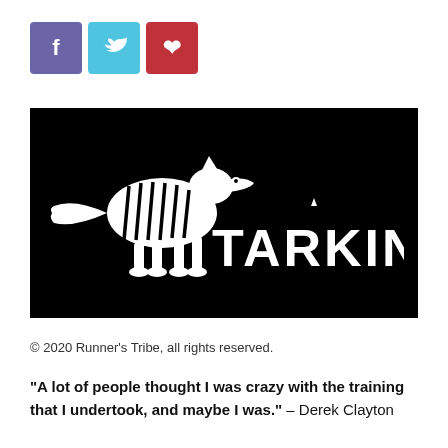[Figure (logo): Three social media share buttons: Facebook (purple), Twitter (cyan), Pinterest (red)]
[Figure (logo): Tarkine brand logo on black background — white running thylacine (Tasmanian tiger) silhouette with stripes next to bold white TARKINE text]
© 2020 Runner's Tribe, all rights reserved.
“A lot of people thought I was crazy with the training that I undertook, and maybe I was.”  – Derek Clayton